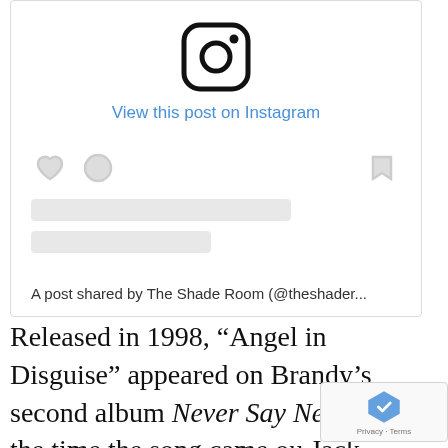[Figure (screenshot): Instagram embed widget showing Instagram logo icon, 'View this post on Instagram' link in blue, placeholder action icons (heart, comment, bookmark), placeholder content bars, and caption text 'A post shared by The Shade Room (@theshader...']
Released in 1998, “Angel in Disguise” appeared on Brandy’s second album Never Say Never. At the time the song came ou Jack Harlow was less than three months